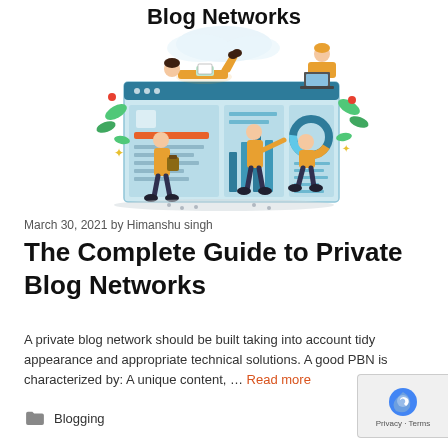Blog Networks
[Figure (illustration): Illustration of people working on a large website/dashboard interface. Multiple characters in yellow outfits are shown: one lying on top reading, one sitting with a laptop, others standing and interacting with the screen showing charts, text panels, and a donut chart. Decorative plants and leaves around the edges.]
March 30, 2021 by Himanshu singh
The Complete Guide to Private Blog Networks
A private blog network should be built taking into account tidy appearance and appropriate technical solutions. A good PBN is characterized by: A unique content, … Read more
Blogging